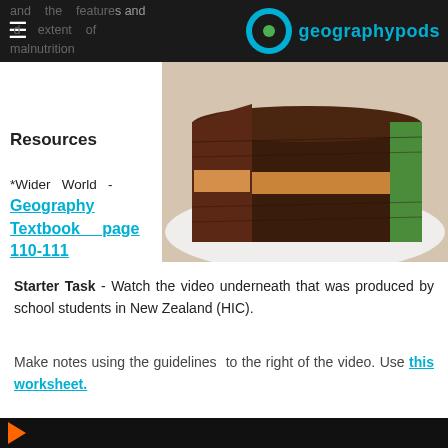geographypods
and the features and
d extent of
malnutrition
Resources
*Wider World - Geography Textbook page 110-111
[Figure (photo): Sliced chocolate cake with peanut butter filling and green frosting on a white plate]
Starter Task - Watch the video underneath that was produced by school students in New Zealand (HIC).
Make notes using the guidelines to the right of the video. Use this worksheet.
[Figure (screenshot): Video player bar at bottom of page, dark background with orange play button icon]